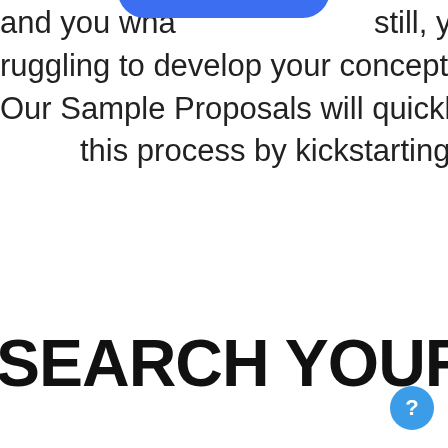[Figure (other): Blue rounded rectangle SIGN UP button]
and you wha still, you are struggling to develop your concept for a proposal. Our Sample Proposals will quickly help you with this process by kickstarting your ideas.
SEARCH YOUR AREA
[Figure (other): Small blue circle button with question mark icon in bottom right corner]